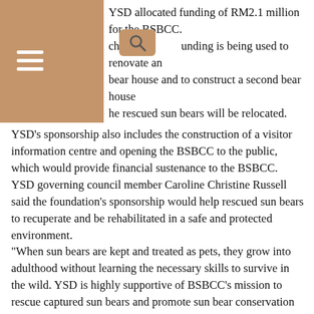YSD allocated funding of RM2.1 million for the BSBCC. chunk of [search] funding is being used to renovate an bear house and to construct a second bear house he rescued sun bears will be relocated.
YSD's sponsorship also includes the construction of a visitor information centre and opening the BSBCC to the public, which would provide financial sustenance to the BSBCC. YSD governing council member Caroline Christine Russell said the foundation's sponsorship would help rescued sun bears to recuperate and be rehabilitated in a safe and protected environment. "When sun bears are kept and treated as pets, they grow into adulthood without learning the necessary skills to survive in the wild. YSD is highly supportive of BSBCC's mission to rescue captured sun bears and promote sun bear conservation in Borneo. This will halt cruelty to these animals including the killing of sun bears for their supposed medicinal value and keeping their offspring as pets," she said. BSBCC chief executive officer Wong Siew Te said the process of catching a sun bear cub involved killing its mother. "If the law allows sun bears to be kept as pets, it will only fuel demand which would lead to more poaching of sun bears," he